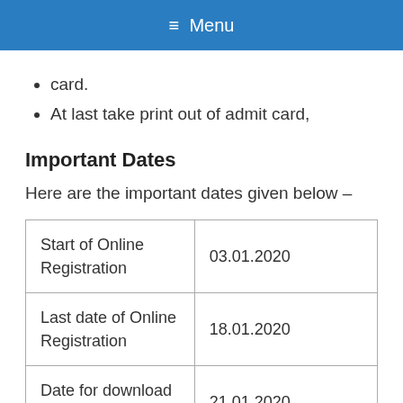≡ Menu
card.
At last take print out of admit card,
Important Dates
Here are the important dates given below –
| Start of Online Registration | 03.01.2020 |
| Last date of Online Registration | 18.01.2020 |
| Date for download Admit Card | 21.01.2020 |